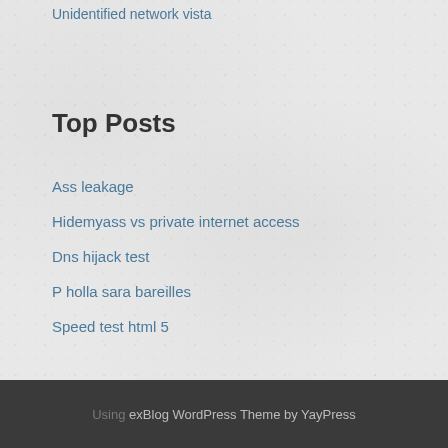Unidentified network vista
Top Posts
Ass leakage
Hidemyass vs private internet access
Dns hijack test
P holla sara bareilles
Speed test html 5
Using exBlog WordPress Theme by YayPress